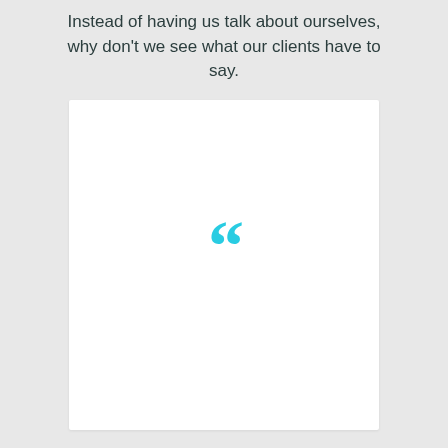Instead of having us talk about ourselves, why don't we see what our clients have to say.
[Figure (illustration): White card panel with a large cyan/turquoise open quotation mark icon centered near the top of the card, on a light grey background.]